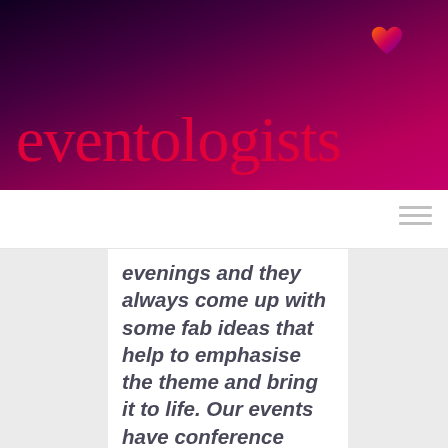[Figure (logo): Eventologists logo with pink-red cursive text on dark purple-to-magenta gradient banner, with a heart icon above the letter 'i']
evenings and they always come up with some fab ideas that help to emphasise the theme and bring it to life. Our events have conference sessions in the venue during the day and we